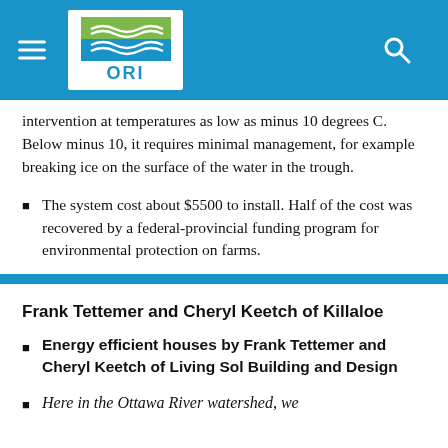ORI — Ottawa Riverkeeper / Ottawa Riverkeeper
intervention at temperatures as low as minus 10 degrees C. Below minus 10, it requires minimal management, for example breaking ice on the surface of the water in the trough.
The system cost about $5500 to install. Half of the cost was recovered by a federal-provincial funding program for environmental protection on farms.
Frank Tettemer and Cheryl Keetch of Killaloe
Energy efficient houses by Frank Tettemer and Cheryl Keetch of Living Sol Building and Design
Here in the Ottawa River watershed, we